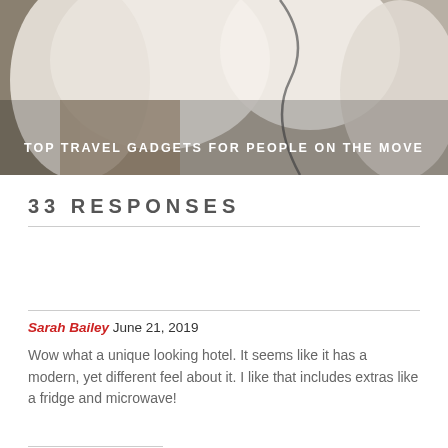[Figure (photo): Photo of white clothing/linens hanging, with a cord visible, in what appears to be a hotel room setting. Text overlay reads 'TOP TRAVEL GADGETS FOR PEOPLE ON THE MOVE'.]
33 RESPONSES
Sarah Bailey June 21, 2019
Wow what a unique looking hotel. It seems like it has a modern, yet different feel about it. I like that includes extras like a fridge and microwave!